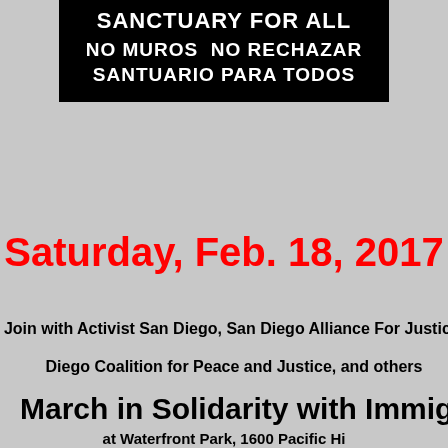[Figure (illustration): Black banner sign with white bold text reading: SANCTUARY FOR ALL / NO MUROS  NO RECHAZAR / SANTUARIO PARA TODOS]
Saturday, Feb. 18, 2017
Join with Activist San Diego, San Diego Alliance For Justice,
Diego Coalition for Peace and Justice, and others
March in Solidarity with Immigrants
at Waterfront Park, 1600 Pacific Hig...